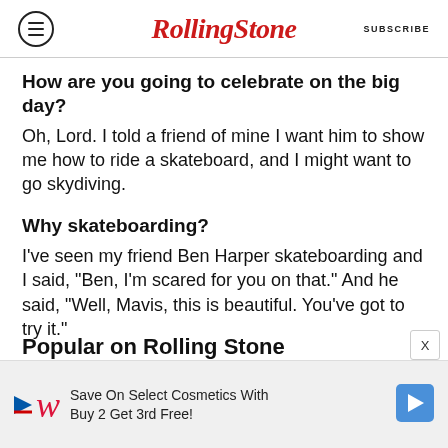RollingStone | SUBSCRIBE
How are you going to celebrate on the big day?
Oh, Lord. I told a friend of mine I want him to show me how to ride a skateboard, and I might want to go skydiving.
Why skateboarding?
I’ve seen my friend Ben Harper skateboarding and I said, “Ben, I’m scared for you on that.” And he said, “Well, Mavis, this is beautiful. You’ve got to try it.”
Popular on Rolling Stone
Save On Select Cosmetics With Buy 2 Get 3rd Free!